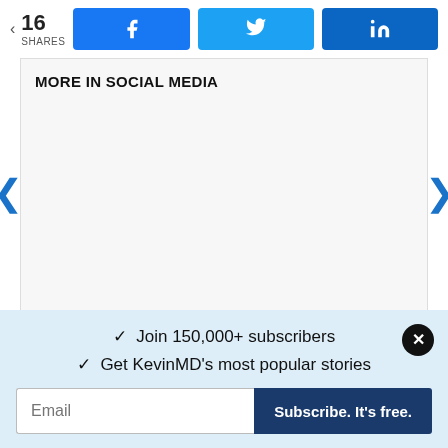16 SHARES
MORE IN SOCIAL MEDIA
✓  Join 150,000+ subscribers
✓  Get KevinMD's most popular stories
Email  Subscribe. It's free.